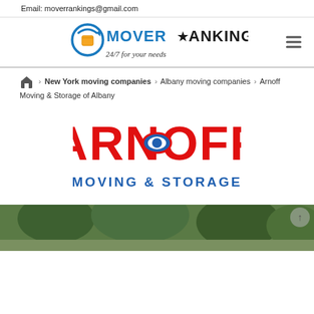Email: moverrankings@gmail.com
[Figure (logo): MoverRankings logo with circular arrow icon and boxes, text 'MOVER RANKINGS 24/7 for your needs']
Home › New York moving companies › Albany moving companies › Arnoff Moving & Storage of Albany
[Figure (logo): Arnoff Moving & Storage logo - red bold ARNOFF text with blue oval eye shape, blue 'MOVING & STORAGE' text below]
[Figure (photo): Street/outdoor photo with green trees, partially visible at bottom of page]